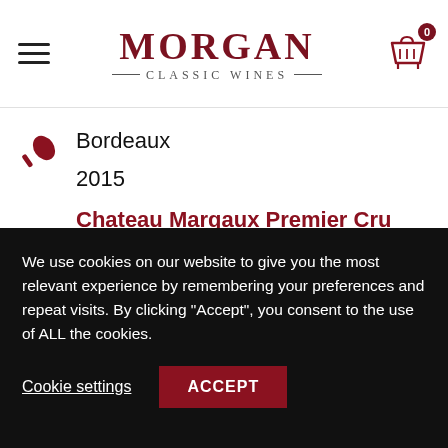MORGAN CLASSIC WINES
Bordeaux
2015
Chateau Margaux Premier Cru Classe, Margaux
Individual OWC's
Qty: 8
We use cookies on our website to give you the most relevant experience by remembering your preferences and repeat visits. By clicking "Accept", you consent to the use of ALL the cookies.
Cookie settings  ACCEPT